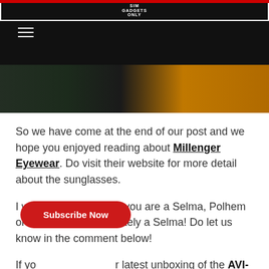SIM GADGETS ONLY
[Figure (photo): Partial photo of eyewear/sunglasses with dark and yellow/orange tones]
So we have come at the end of our post and we hope you enjoyed reading about Millenger Eyewear. Do visit their website for more detail about the sunglasses.
I would love to know if you are a Selma, Polhem or Assar. We are definitely a Selma! Do let us know in the comment below!
If you want to see our latest unboxing of the AVI-8 Hawker H... a look here:
https://www.youtube.com/watch?v=RJjbG-